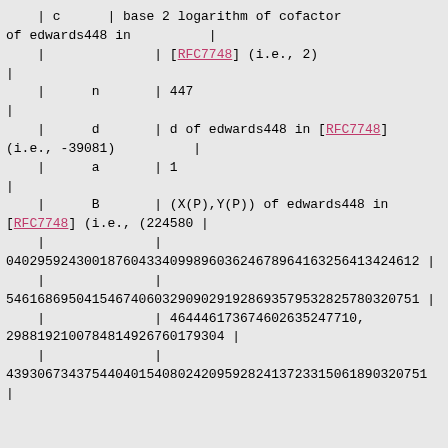| c | base 2 logarithm of cofactor of edwards448 in |
    |              | [RFC7748] (i.e., 2)                             |
    |
    |      n       | 447                                             |
    |
    |      d       | d of edwards448 in [RFC7748] (i.e., -39081)     |
    |      a       | 1                                               |
    |
    |      B       | (X(P),Y(P)) of edwards448 in [RFC7748] (i.e., (224580 |
    |              | 040295924300187604334099896036246789641632564130320751 |
    |              | 546168695041546740603290902919286935795328257880320751 |
    |              | 46444617367460263524771029881921007848149267601793040320751 |
    |              | 439306734375440401540802420959282413723315061890320751 |